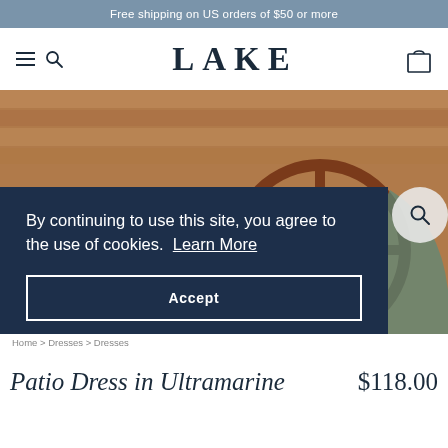Free shipping on US orders of $50 or more
[Figure (logo): LAKE brand logo with hamburger menu, search icon, and cart icon]
[Figure (photo): Close-up of a person wearing a white dress with blue scalloped hem, sitting at a vintage wooden ship's wheel on a boat deck]
By continuing to use this site, you agree to the use of cookies. Learn More
Accept
Home > Dresses > Dresses
Patio Dress in Ultramarine
$118.00